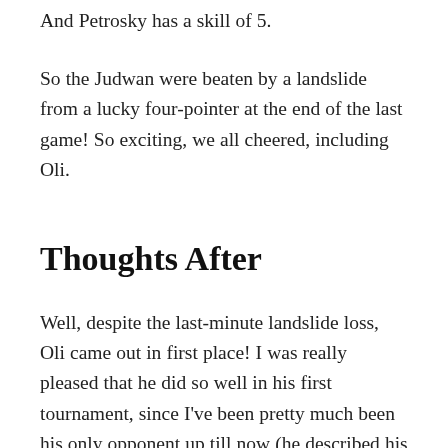And Petrosky has a skill of 5.
So the Judwan were beaten by a landslide from a lucky four-pointer at the end of the last game! So exciting, we all cheered, including Oli.
Thoughts After
Well, despite the last-minute landslide loss, Oli came out in first place! I was really pleased that he did so well in his first tournament, since I've been pretty much been his only opponent up till now (he described his first and only game against Jen a week ago as his first “real” game, because he didn’t count our games!) and he